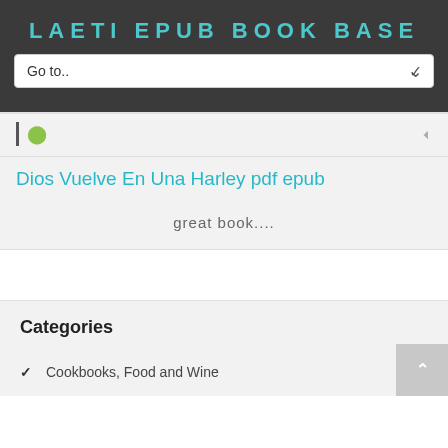LAETI EPUB BOOK BASE
Go to..
Dios Vuelve En Una Harley pdf epub
great book....
Categories
Cookbooks, Food and Wine